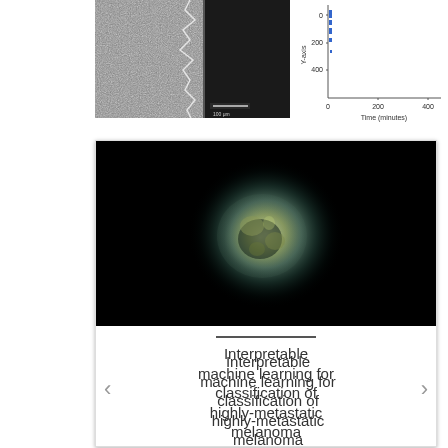[Figure (photo): Grayscale microscopy image showing cell/tissue boundary with white noise-like texture on left side and dark background on right side]
[Figure (scatter-plot): Scatter plot with Y-axis labeled 'Y-axis' (values ~0 to 400+), X-axis labeled 'Time (minutes)' (values 0 to 400+), with a few blue data points clustered near time=0]
[Figure (photo): Dark-field fluorescence microscopy image of a spheroid/cell cluster glowing teal/green against black background]
Interpretable machine learning for classification of highly-metastatic melanoma